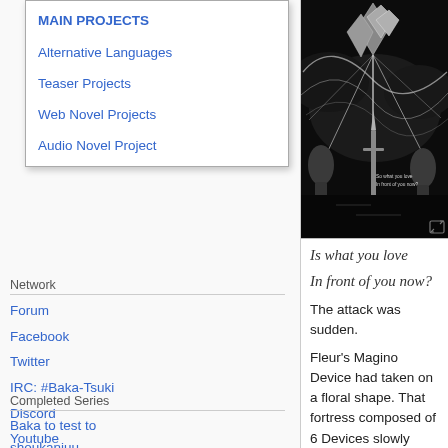MAIN PROJECTS
Alternative Languages
Teaser Projects
Web Novel Projects
Audio Novel Project
[Figure (illustration): Black and white anime/light novel illustration showing dramatic scene with crystals and figures, with text overlay reading 'So what you love In front of you now?']
Network
Forum
Facebook
Twitter
IRC: #Baka-Tsuki
Discord
Youtube
Completed Series
Baka to test to shoukanjuu
Chrome Shelled Regios
Clash of Hexennacht
Cube × Cursed × Curious
Fate/Zero
Hello, Hello and Hello
Is what you love
In front of you now?
The attack was sudden.
Fleur's Magino Device had taken on a floral shape. That fortress composed of 6 Devices slowly rotated while scattering flowers into the space around it.
They were not just released horizontally; it was a complete field of air currents, so they hovered, rocked, rose, and fell.
As the giant flower continued to spin,